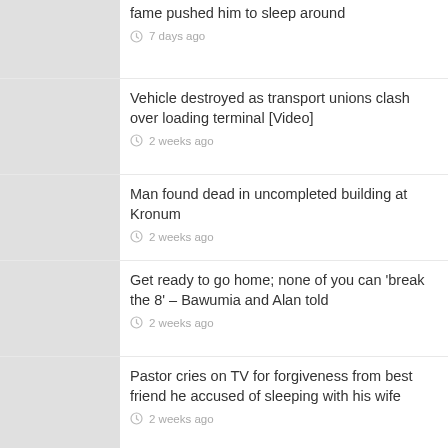fame pushed him to sleep around
7 days ago
Vehicle destroyed as transport unions clash over loading terminal [Video]
2 weeks ago
Man found dead in uncompleted building at Kronum
2 weeks ago
Get ready to go home; none of you can 'break the 8' – Bawumia and Alan told
2 weeks ago
Pastor cries on TV for forgiveness from best friend he accused of sleeping with his wife
2 weeks ago